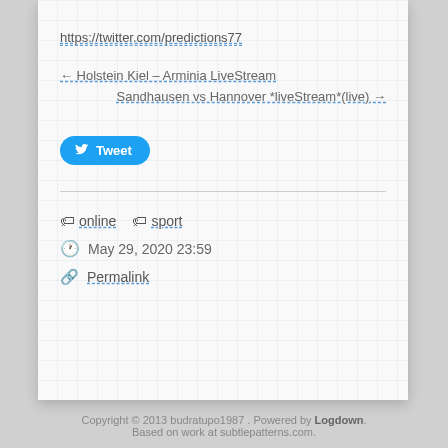https://twitter.com/predictions77
← Holstein Kiel – Arminia LiveStream
Sandhausen vs Hannover *liveStream*(live) →
[Figure (other): Twitter Tweet button (blue rounded button with bird icon)]
online  sport
May 29, 2020 23:59
Permalink
Copyright © 2013 budratupo1987 . Powered by Logdown. Based on work at subtlepatterns.com.